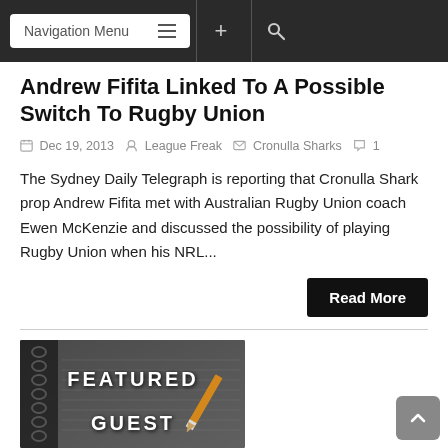Navigation Menu
Andrew Fifita Linked To A Possible Switch To Rugby Union
Dec 19, 2013  League Freak  Cronulla Sharks  1
The Sydney Daily Telegraph is reporting that Cronulla Shark prop Andrew Fifita met with Australian Rugby Union coach Ewen McKenzie and discussed the possibility of playing Rugby Union when his NRL...
Read More
[Figure (photo): Featured Guest banner image with notebook spiral and pencil on dark background, text reading FEATURED GUEST]